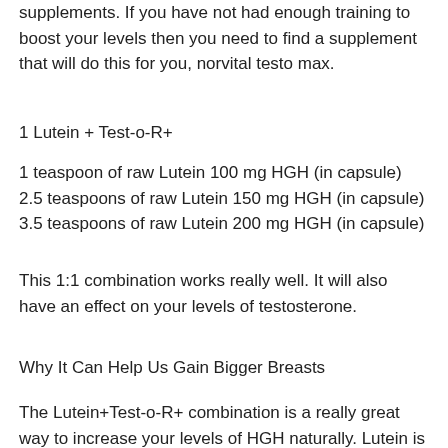supplements. If you have not had enough training to boost your levels then you need to find a supplement that will do this for you, norvital testo max.
1 Lutein + Test-o-R+
1 teaspoon of raw Lutein 100 mg HGH (in capsule) 2.5 teaspoons of raw Lutein 150 mg HGH (in capsule) 3.5 teaspoons of raw Lutein 200 mg HGH (in capsule)
This 1:1 combination works really well. It will also have an effect on your levels of testosterone.
Why It Can Help Us Gain Bigger Breasts
The Lutein+Test-o-R+ combination is a really great way to increase your levels of HGH naturally. Lutein is produced naturally in